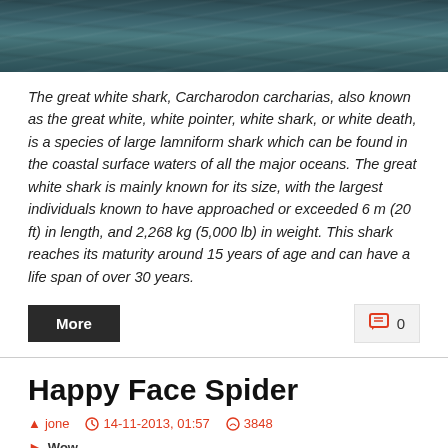[Figure (photo): Dark ocean surface with waves, viewed from above, in dark teal/grey tones]
The great white shark, Carcharodon carcharias, also known as the great white, white pointer, white shark, or white death, is a species of large lamniform shark which can be found in the coastal surface waters of all the major oceans. The great white shark is mainly known for its size, with the largest individuals known to have approached or exceeded 6 m (20 ft) in length, and 2,268 kg (5,000 lb) in weight. This shark reaches its maturity around 15 years of age and can have a life span of over 30 years.
More
0
Happy Face Spider
jone  14-11-2013, 01:57  3848
Wow